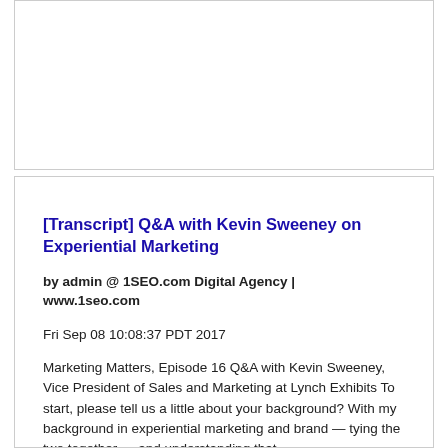[Figure (other): Empty white card/box at top of page]
[Transcript] Q&A with Kevin Sweeney on Experiential Marketing
by admin @ 1SEO.com Digital Agency | www.1seo.com
Fri Sep 08 10:08:37 PDT 2017
Marketing Matters, Episode 16 Q&A with Kevin Sweeney, Vice President of Sales and Marketing at Lynch Exhibits To start, please tell us a little about your background? With my background in experiential marketing and brand — tying the two together — and understanding that